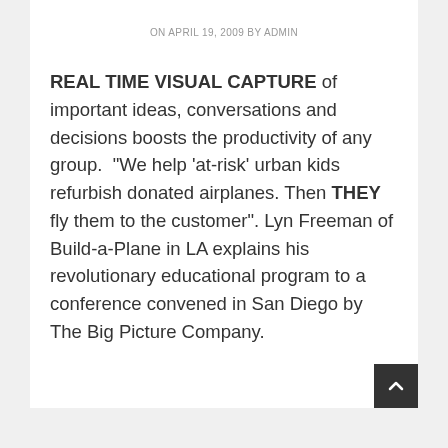ON APRIL 19, 2009 BY ADMIN
REAL TIME VISUAL CAPTURE of important ideas, conversations and decisions boosts the productivity of any group.  "We help 'at-risk' urban kids refurbish donated airplanes. Then THEY fly them to the customer". Lyn Freeman of Build-a-Plane in LA explains his revolutionary educational program to a conference convened in San Diego by The Big Picture Company.
Read More